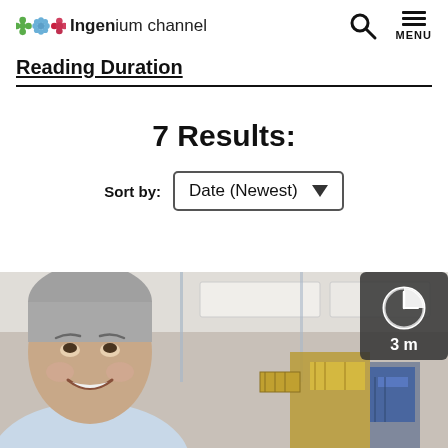Ingenium channel
Reading Duration
7 Results:
Sort by: Date (Newest)
[Figure (photo): A smiling middle-aged man in an office with satellite models in the foreground. A timer badge in the top-right corner shows '3 m'.]